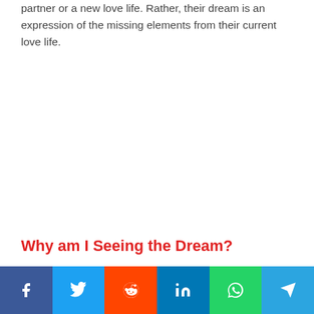partner or a new love life. Rather, their dream is an expression of the missing elements from their current love life.
Why am I Seeing the Dream?
[Figure (other): Social media share buttons bar: Facebook (blue), Twitter (light blue), Reddit (orange-red), LinkedIn (blue), WhatsApp (green), Telegram (light blue)]